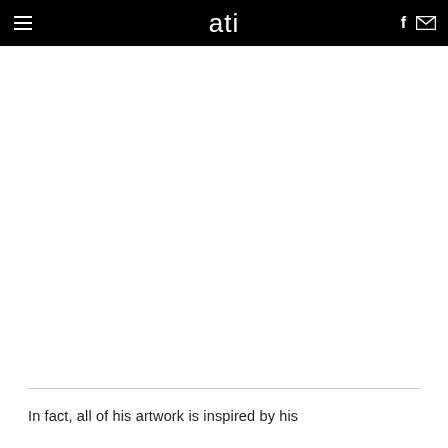≡  ati  f ✉
[Figure (other): Large white blank image area below the navigation bar]
In fact, all of his artwork is inspired by his